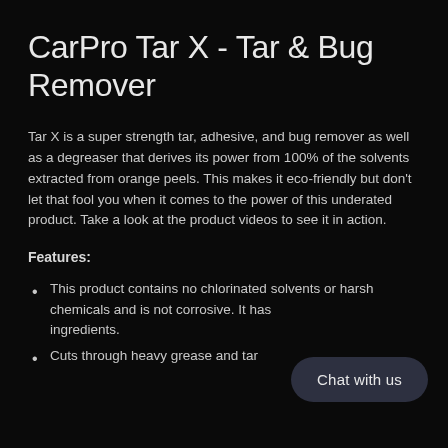CarPro Tar X - Tar & Bug Remover
Tar X is a super strength tar, adhesive, and bug remover as well as a degreaser that derives its power from 100% of the solvents extracted from orange peels. This makes it eco-friendly but don't let that fool you when it comes to the power of this underated product. Take a look at the product videos to see it in action.
Features:
This product contains no chlorinated solvents or harsh chemicals and is not corrosive. It has … ingredients.
Cuts through heavy grease and tar